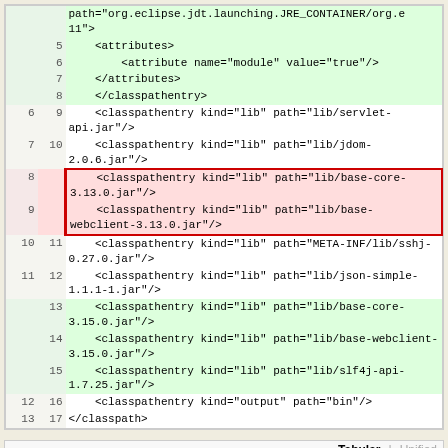| old | new | code |
| --- | --- | --- |
|  |  | path="org.eclipse.jdt.launching.JRE_CONTAINER/org.e 11"> |
|  | 5 |     <attributes> |
|  | 6 |         <attribute name="module" value="true"/> |
|  | 7 |     </attributes> |
|  | 8 |     </classpathentry> |
| 6 | 9 |     <classpathentry kind="lib" path="lib/servlet-api.jar"/> |
| 7 | 10 |     <classpathentry kind="lib" path="lib/jdom-2.0.6.jar"/> |
| 8 |  |     <classpathentry kind="lib" path="lib/base-core-3.13.0.jar"/> |
| 9 |  |     <classpathentry kind="lib" path="lib/base-webclient-3.13.0.jar"/> |
| 10 | 11 |     <classpathentry kind="lib" path="META-INF/lib/sshj-0.27.0.jar"/> |
| 11 | 12 |     <classpathentry kind="lib" path="lib/json-simple-1.1.1-1.jar"/> |
|  | 13 |     <classpathentry kind="lib" path="lib/base-core-3.15.0.jar"/> |
|  | 14 |     <classpathentry kind="lib" path="lib/base-webclient-3.15.0.jar"/> |
|  | 15 |     <classpathentry kind="lib" path="lib/slf4j-api-1.7.25.jar"/> |
| 12 | 16 |     <classpathentry kind="output" path="bin"/> |
| 13 | 17 | </classpath> |
Tabular | Unified
extensions/net.sf.basedb.opengrid/trunk/META-INF/extensions.xml
| r4936 | r5505 |
| --- | --- |